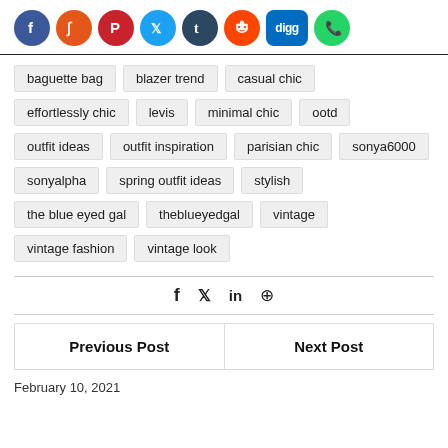[Figure (infographic): Row of 8 social media share buttons as colored circles: Facebook (blue), StumbleUpon (orange), Pinterest (red), Twitter (light blue), Tumblr (dark blue), Reddit (orange-red), Digg (blue), WhatsApp (green)]
baguette bag
blazer trend
casual chic
effortlessly chic
levis
minimal chic
ootd
outfit ideas
outfit inspiration
parisian chic
sonya6000
sonyalpha
spring outfit ideas
stylish
the blue eyed gal
theblueyedgal
vintage
vintage fashion
vintage look
f  𝕏  in  ⊕
Previous Post    Next Post
February 10, 2021